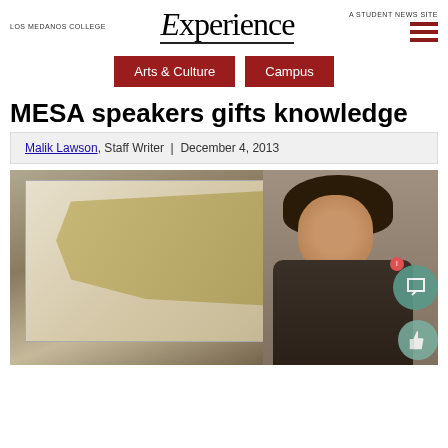LOS MEDANOS COLLEGE | Experience | A STUDENT NEWS SITE
Arts & Culture
Campus
MESA speakers gifts knowledge
Malik Lawson, Staff Writer | December 4, 2013
[Figure (photo): A woman presenting in front of a projector screen displaying what appears to be a map. She is standing to the right, wearing a dark top and lanyard, speaking to an audience.]